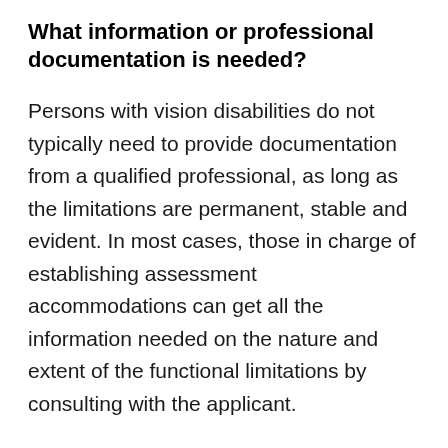What information or professional documentation is needed?
Persons with vision disabilities do not typically need to provide documentation from a qualified professional, as long as the limitations are permanent, stable and evident. In most cases, those in charge of establishing assessment accommodations can get all the information needed on the nature and extent of the functional limitations by consulting with the applicant.
Note that when the vision disability is